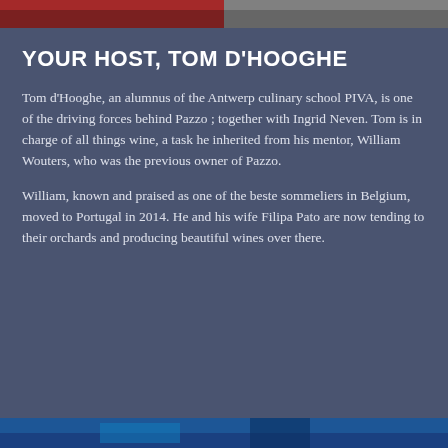[Figure (photo): Two photos at top: left shows a person in red clothing, right shows a black and white portrait]
YOUR HOST, TOM d'HOOGHE
Tom d'Hooghe, an alumnus of the Antwerp culinary school PIVA, is one of the driving forces behind Pazzo ; together with Ingrid Neven. Tom is in charge of all things wine, a task he inherited from his mentor, William Wouters, who was the previous owner of Pazzo.
William, known and praised as one of the beste sommeliers in Belgium, moved to Portugal in 2014. He and his wife Filipa Pato are now tending to their orchards and producing beautiful wines over there.
[Figure (photo): Partial photo at bottom showing blue tones]